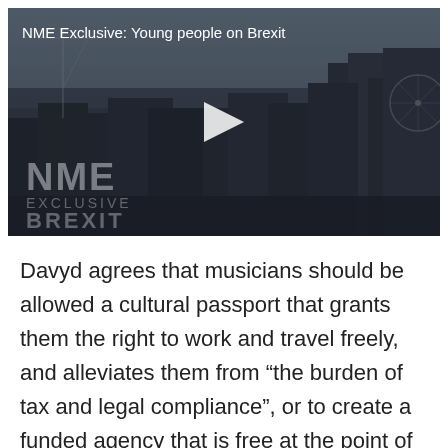[Figure (screenshot): NME Exclusive video thumbnail showing a cityscape of London with a play button overlay. Text reads 'NME Exclusive: Young people on Brexit'. NME EXCLUSIVE BREXIT watermark logo visible in bottom left.]
Davyd agrees that musicians should be allowed a cultural passport that grants them the right to work and travel freely, and alleviates them from "the burden of tax and legal compliance", or to create a funded agency that is free at the point of access to help them along the way.